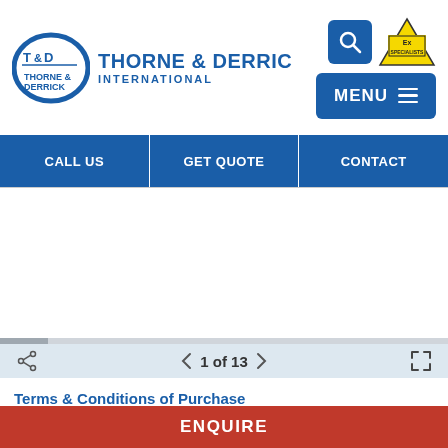[Figure (logo): Thorne & Derrick International logo with T&D emblem, blue oval, brand name and Ex Specialists badge, search and menu buttons]
| CALL US | GET QUOTE | CONTACT |
| --- | --- | --- |
[Figure (screenshot): Document viewer showing page 1 of 13 with share, navigation arrows, and fullscreen icons on a light blue toolbar]
Terms & Conditions of Purchase
Barnbury Enterprises Limited (t/a Thorne & Derrick)
ENQUIRE